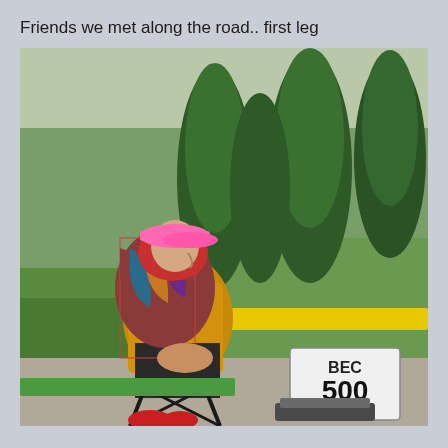Friends we met along the road.. first leg
[Figure (photo): An elderly woman sitting on a small folding stool on a sidewalk curb, wearing a yellow jacket, colorful patterned shawl, red headscarf, and a bright pink visor hat. She has red shoes and is seated next to a white sign on the ground that reads 'BEC 500 CYM'. Green trees and grass are visible in the background. A yellow painted curb is visible to her right.]